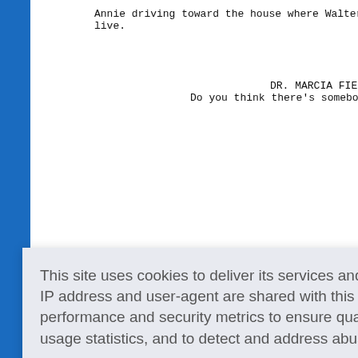Annie driving toward the house where Walter's pa
live.
DR. MARCIA FIELDSTONE (V
Do you think there's somebody
[Figure (screenshot): Cookie consent overlay dialog with text: 'This site uses cookies to deliver its services and to analyze traffic. Your IP address and user-agent are shared with this website along with performance and security metrics to ensure quality of service, generate usage statistics, and to detect and address abuse.' with a 'Learn more' link and a blue 'Got it!' button.]
nd the
ne bench
am is st
the boy's hair.